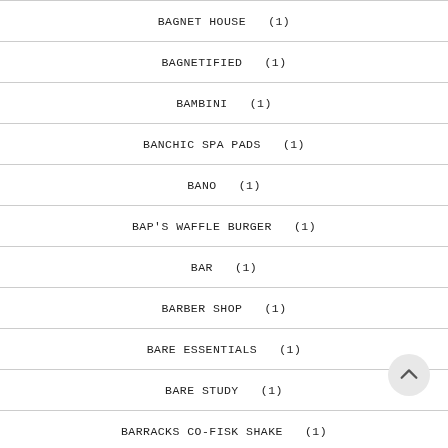BAGNET HOUSE  (1)
BAGNETIFIED  (1)
BAMBINI  (1)
BANCHIC SPA PADS  (1)
BANO  (1)
BAP'S WAFFLE BURGER  (1)
BAR  (1)
BARBER SHOP  (1)
BARE ESSENTIALS  (1)
BARE STUDY  (1)
BARRACKS CO-FISK SHAKE  (1)